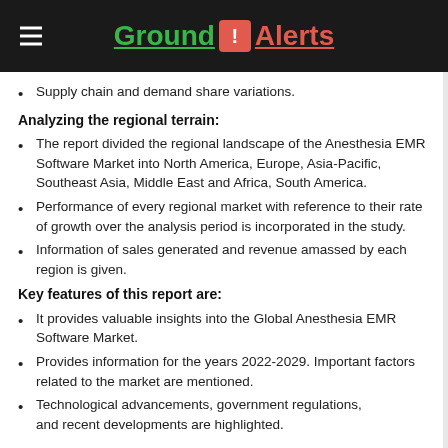Ground ! Alerts
Supply chain and demand share variations.
Analyzing the regional terrain:
The report divided the regional landscape of the Anesthesia EMR Software Market into North America, Europe, Asia-Pacific, Southeast Asia, Middle East and Africa, South America.
Performance of every regional market with reference to their rate of growth over the analysis period is incorporated in the study.
Information of sales generated and revenue amassed by each region is given.
Key features of this report are:
It provides valuable insights into the Global Anesthesia EMR Software Market.
Provides information for the years 2022-2029. Important factors related to the market are mentioned.
Technological advancements, government regulations, and recent developments are highlighted.